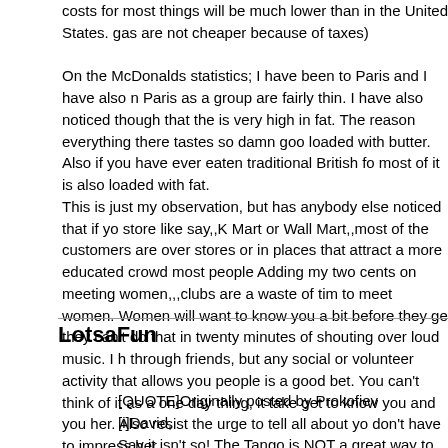costs for most things will be much lower than in the United States. gas are not cheaper because of taxes)

On the McDonalds statistics; I have been to Paris and I have also noticed that people in Paris as a group are fairly thin. I have also noticed though that the food is very high in fat. The reason everything there tastes so damn good is it is loaded with butter. Also if you have ever eaten traditional British food, most of it is also loaded with fat.
This is just my observation, but has anybody else noticed that if you go into a store like say,,K Mart or Wall Mart,,most of the customers are overweight. In stores or in places that attract a more educated crowd most people are thinner.
Adding my two cents on meeting women,,,clubs are a waste of time to meet women. Women will want to know you a bit before they get involved and they can't do that in twenty minutes of shouting over loud music. I have met women through friends, but any social or volunteer activity that allows you to meet people is a good bet. You can't think of it as a one day thing, it takes time to get to know you and you her. Also resist the urge to tell all about yourself, you don't have to impress her.
LotsaFun
[QUOTE]Originally posted by Prokofiev
[i]David,
Say it isn't so! The Tango is NOT a great way to meet women? How I have been planning to make tango my next "new project"! Explain please